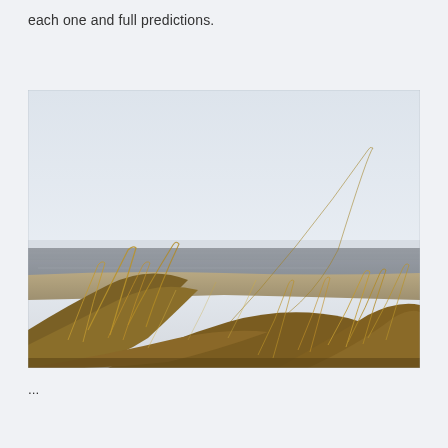each one and full predictions.
[Figure (photo): Coastal beach scene with tall windswept dune grass in the foreground, a wide sandy beach and ocean waves in the middle ground, and an overcast pale grey sky filling the upper half of the image.]
...